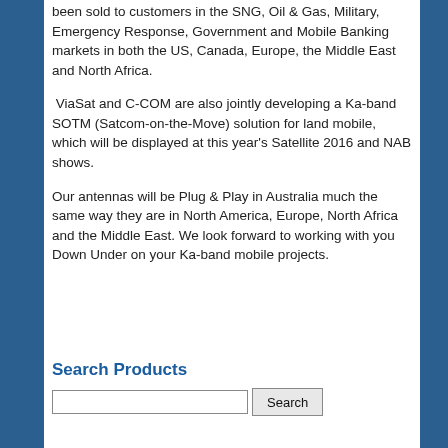been sold to customers in the SNG, Oil & Gas, Military, Emergency Response, Government and Mobile Banking markets in both the US, Canada, Europe, the Middle East and North Africa.
ViaSat and C-COM are also jointly developing a Ka-band SOTM (Satcom-on-the-Move) solution for land mobile, which will be displayed at this year's Satellite 2016 and NAB shows.
Our antennas will be Plug & Play in Australia much the same way they are in North America, Europe, North Africa and the Middle East. We look forward to working with you Down Under on your Ka-band mobile projects.
Search Products